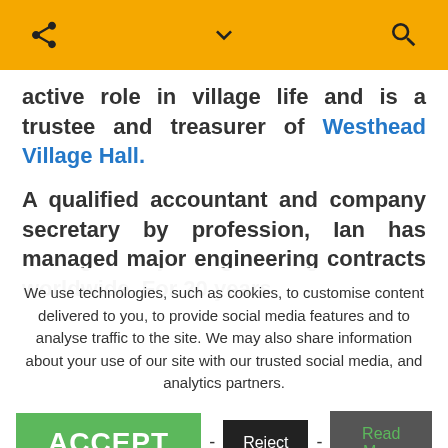[share icon] [chevron icon] [search icon]
active role in village life and is a trustee and treasurer of Westhead Village Hall.
A qualified accountant and company secretary by profession, Ian has managed major engineering contracts worldwide. For 20 years
We use technologies, such as cookies, to customise content delivered to you, to provide social media features and to analyse traffic to the site. We may also share information about your use of our site with our trusted social media, and analytics partners.
ACCEPT - Reject - Read More